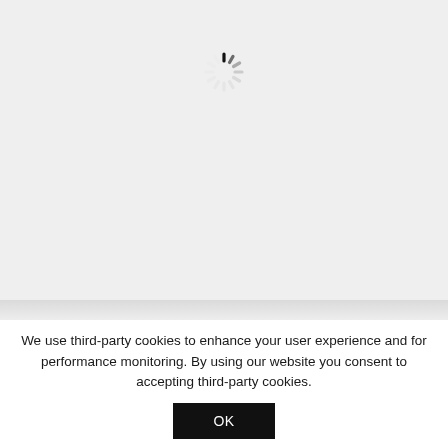[Figure (other): Loading spinner icon centered near the top of the page on a light gray background]
We use third-party cookies to enhance your user experience and for performance monitoring. By using our website you consent to accepting third-party cookies.
OK